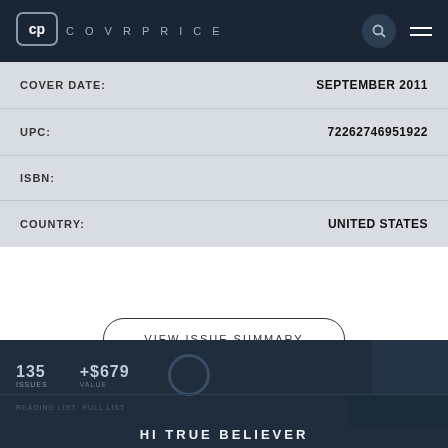COVRPRICE
| Field | Value |
| --- | --- |
| COVER DATE: | SEPTEMBER 2011 |
| UPC: | 72262746951922 |
| ISBN: |  |
| COUNTRY: | UNITED STATES |
VIEW ISSUE SUMMARY
[Figure (screenshot): Dark blue footer section showing statistics panel with numbers, a circle icon, a box element, and text reading HI TRUE BELIEVER]